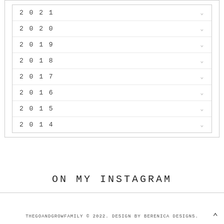2021
2020
2019
2018
2017
2016
2015
2014
ON MY INSTAGRAM
THEGOANDGROWFAMILY © 2022. DESIGN BY BERENICA DESIGNS.